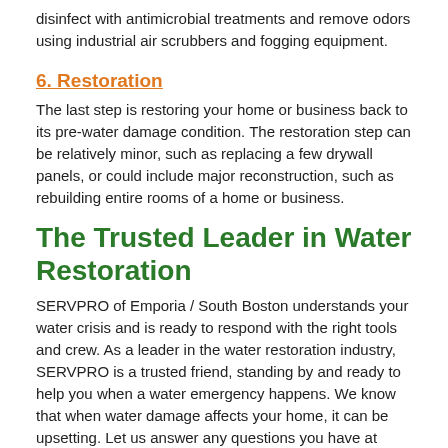disinfect with antimicrobial treatments and remove odors using industrial air scrubbers and fogging equipment.
6. Restoration
The last step is restoring your home or business back to its pre-water damage condition. The restoration step can be relatively minor, such as replacing a few drywall panels, or could include major reconstruction, such as rebuilding entire rooms of a home or business.
The Trusted Leader in Water Restoration
SERVPRO of Emporia / South Boston understands your water crisis and is ready to respond with the right tools and crew. As a leader in the water restoration industry, SERVPRO is a trusted friend, standing by and ready to help you when a water emergency happens. We know that when water damage affects your home, it can be upsetting. Let us answer any questions you have at (434) 262-6792. We are ready to make this situation “Like it never even happened.”